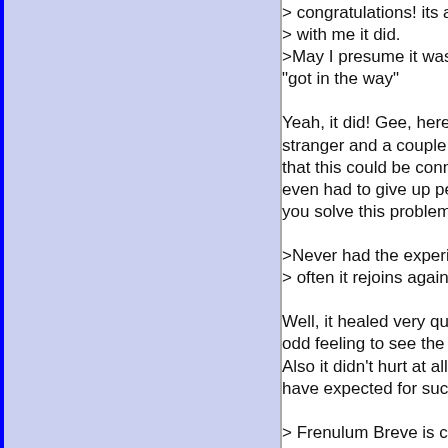> congratulations! its a tric
> with me it did.
>May I presume it was diff
"got in the way"

Yeah, it did! Gee, here I am
stranger and a couple thing
that this could be connecte
even had to give up penetra
you solve this problem?

>Never had the experience
> often it rejoins again . . .

Well, it healed very quickly
odd feeling to see the tip of
Also it didn't hurt at all (ap
have expected for such a se

> Frenulum Breve is comm
> even recognised, - by the
> found out that sexual dist
> acknowledged idea amon

That's funny. Where did yo
information — as if f